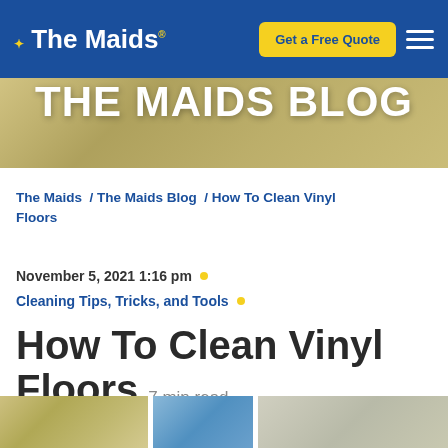The Maids — Get a Free Quote — Menu
[Figure (photo): THE MAIDS BLOG hero banner with olive/gold background]
The Maids / The Maids Blog / How To Clean Vinyl Floors
November 5, 2021 1:16 pm
Cleaning Tips, Tricks, and Tools
How To Clean Vinyl Floors 7 min read
[Figure (photo): Partial bottom image strip showing cleaning-related images]